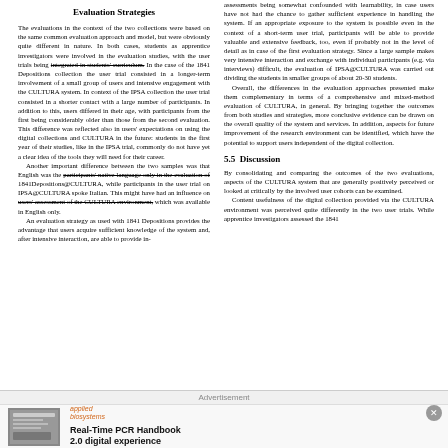Evaluation Strategies
The evaluations in the context of the two collections were based on the same common evaluation approach and model, but were obviously quite different in nature. In both cases, students as apprentice investigators were involved in the evaluation studies, with the user trials being integrated in students' curriculum. In the case of the 1841 Depositions collection the user trial consisted in a longer-term involvement of a small group of users and intensive engagement with the CULTURA system. In context of the IPSA collection the user trial consisted in a shorter contact with a large number of participants. In addition to this, users differed in their age, with participants from the first being considerably older than those from the second evaluation. This difference was reflected also in users' expectations on using the digital collections and CULTURA in the future: students in the first year of their studies, like in the IPSA trial, commonly do not have yet a clear idea of the tools they will need for their career.
Another important difference between the two samples was that English was the participants' native language only in the evaluation of 1841Depositions@CULTURA, while participants in the user trial on IPSA@CULTURA spoke Italian. This might have had an influence on users' assessment of the CULTURA environment, which was available in English only.
An evaluation strategy as used with 1841 Depositions provides the advantage that users acquire sufficient knowledge of the system and, after intensive interaction, are able to provide in-
assessments being somewhat confounded with learnability, in case users have not had the chance to gather sufficient experience in handling the system. If an appropriate exposure to the system is possible even in the context of a short-term user trial, participants will be able to provide valuable and extensive feedback, too, even if probably not in the level of detail as in case of the first evaluation strategy. Since a large sample makes very intensive interaction and exchange with individual participants (e.g. via interviews) difficult, the evaluation of IPSA@CULTURA was carried out dividing the students in smaller groups of about 20-30 students.
Overall, the differences in the evaluation approaches presented make them complementary in terms of a comprehensive and mixed-method evaluation of CULTURA, in general. By bringing together the outcomes from both studies and strategies, more conclusive evidence can be drawn on the overall quality of the system and services. In addition, aspects for future improvement of the research environment can be identified, which have the potential to support users independent of the digital collection.
5.5 Discussion
By consolidating and comparing the outcomes of the two evaluations, aspects of the CULTURA system that are generally positively perceived or looked at critically by the involved user cohorts can be examined.
Content usefulness of the digital collection provided via the CULTURA environment was perceived quite differently in the two user trials. While apprentice investigators assessed the 1841
Advertisement
[Figure (other): Advertisement panel for Applied Biosystems Real-Time PCR Handbook 2.0 digital experience, with product image on left and bold text on right.]